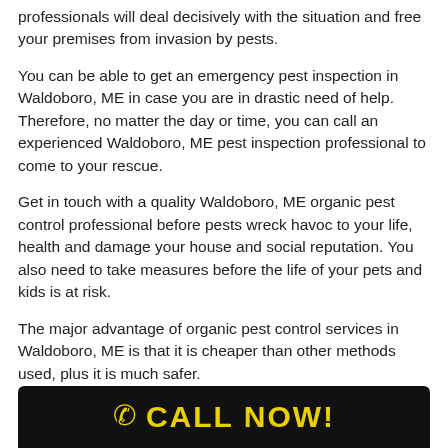professionals will deal decisively with the situation and free your premises from invasion by pests.
You can be able to get an emergency pest inspection in Waldoboro, ME in case you are in drastic need of help. Therefore, no matter the day or time, you can call an experienced Waldoboro, ME pest inspection professional to come to your rescue.
Get in touch with a quality Waldoboro, ME organic pest control professional before pests wreck havoc to your life, health and damage your house and social reputation. You also need to take measures before the life of your pets and kids is at risk.
The major advantage of organic pest control services in Waldoboro, ME is that it is cheaper than other methods used, plus it is much safer.
[Figure (infographic): Black banner with yellow phone icon and yellow text reading CALL NOW!]